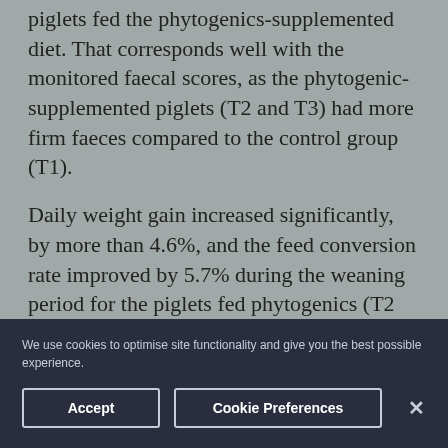piglets fed the phytogenics-supplemented diet. That corresponds well with the monitored faecal scores, as the phytogenic-supplemented piglets (T2 and T3) had more firm faeces compared to the control group (T1).
Daily weight gain increased significantly, by more than 4.6%, and the feed conversion rate improved by 5.7% during the weaning period for the piglets fed phytogenics (T2 and T3) as compared to the control group (T1).
We use cookies to optimise site functionality and give you the best possible experience.